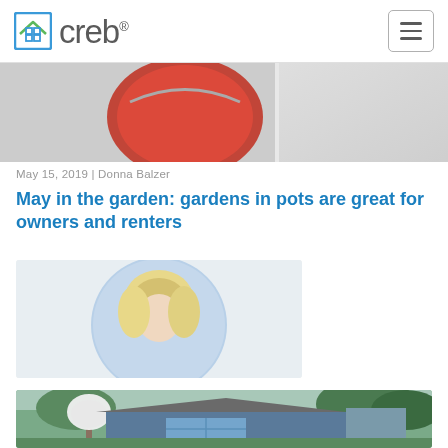[Figure (logo): CREB logo with house icon and 'creb' wordmark]
[Figure (photo): Top partial image showing a red object (paint can lid or pot) against a light background]
May 15, 2019 | Donna Balzer
May in the garden: gardens in pots are great for owners and renters
[Figure (photo): Circular author photo showing a blonde woman (Donna Balzer) with blue background]
[Figure (photo): Exterior photo of a blue house with white flowering trees and green foliage in spring]